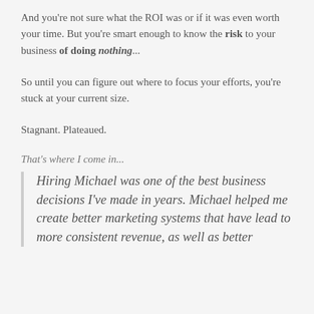And you're not sure what the ROI was or if it was even worth your time. But you're smart enough to know the risk to your business of doing nothing...
So until you can figure out where to focus your efforts, you're stuck at your current size.
Stagnant. Plateaued.
That's where I come in...
Hiring Michael was one of the best business decisions I've made in years. Michael helped me create better marketing systems that have lead to more consistent revenue, as well as better